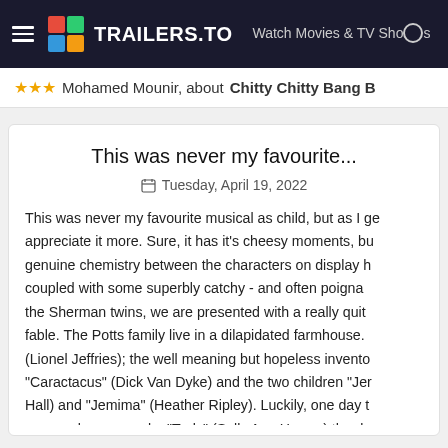TRAILERS.TO — Watch Movies & TV Shows
Mohamed Mounir, about Chitty Chitty Bang B...
This was never my favourite...
Tuesday, April 19, 2022
This was never my favourite musical as child, but as I ge... appreciate it more. Sure, it has it's cheesy moments, bu... genuine chemistry between the characters on display ... coupled with some superbly catchy - and often poigna... the Sherman twins, we are presented with a really quit... fable. The Potts family live in a dilapidated farmhouse... (Lionel Jeffries); the well meaning but hopeless invento... "Caractacus" (Dick Van Dyke) and the two children "Jer... Hall) and "Jemima" (Heather Ripley). Luckily, one day t... are nearly run over by "Truly" (Sally Ann Howes) the da...